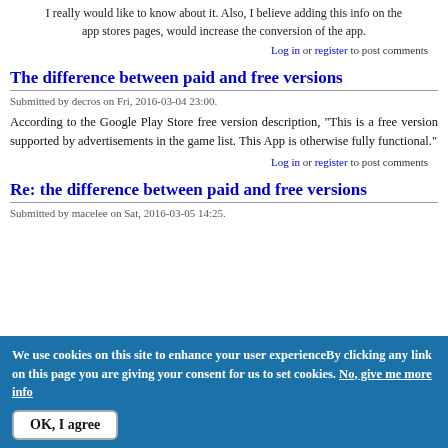I really would like to know about it. Also, I believe adding this info on the app stores pages, would increase the conversion of the app.
Log in or register to post comments
The difference between paid and free versions
Submitted by decros on Fri, 2016-03-04 23:00.
According to the Google Play Store free version description, "This is a free version supported by advertisements in the game list. This App is otherwise fully functional."
Log in or register to post comments
Re: the difference between paid and free versions
Submitted by macelee on Sat, 2016-03-05 14:25.
We use cookies on this site to enhance your user experienceBy clicking any link on this page you are giving your consent for us to set cookies. No, give me more info